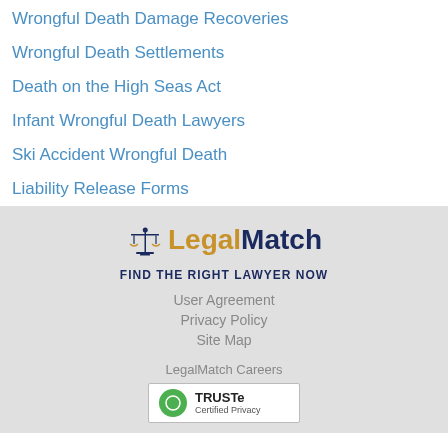Wrongful Death Damage Recoveries
Wrongful Death Settlements
Death on the High Seas Act
Infant Wrongful Death Lawyers
Ski Accident Wrongful Death
Liability Release Forms
[Figure (logo): LegalMatch logo with scales of justice icon and tagline FIND THE RIGHT LAWYER NOW]
User Agreement
Privacy Policy
Site Map
LegalMatch Careers
TRUSTe Certified Privacy